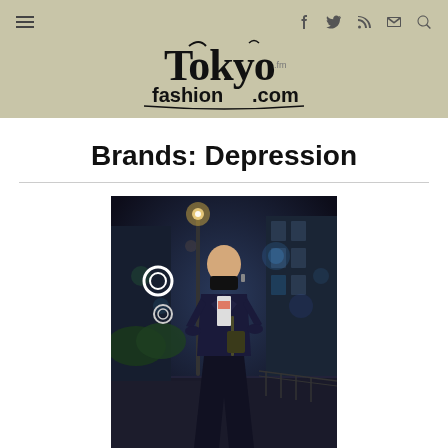TokyoFashion.com
Brands: Depression
[Figure (photo): Street fashion photo of a bald person wearing a black face mask, dark wide-leg pants, a dark jacket over a light top with graphic print, standing on a city street at night with bokeh lights in the background.]